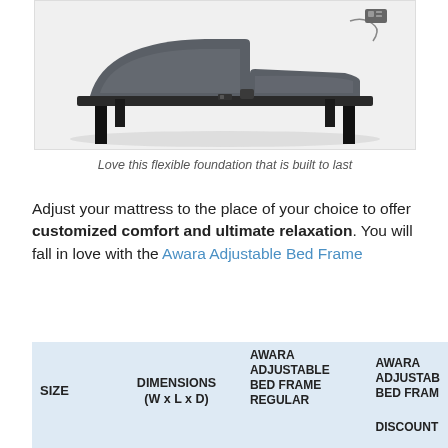[Figure (photo): An adjustable bed frame (Awara Adjustable Bed Frame) shown in an angled/inclined position with head and foot sections raised, black metal frame with gray upholstered surface, on a white background.]
Love this flexible foundation that is built to last
Adjust your mattress to the place of your choice to offer customized comfort and ultimate relaxation. You will fall in love with the Awara Adjustable Bed Frame
| SIZE | DIMENSIONS (W x L x D) | AWARA ADJUSTABLE BED FRAME REGULAR | AWARA ADJUSTABLE BED FRAME DISCOUNT |
| --- | --- | --- | --- |